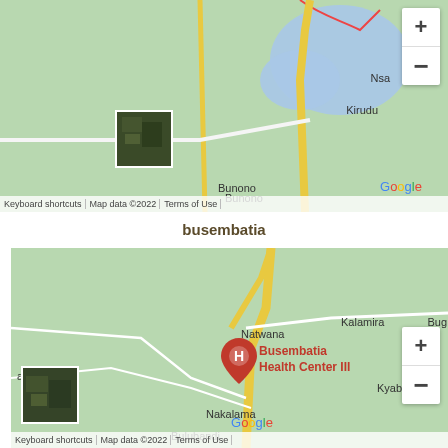[Figure (map): Google Map showing area around Bunono, Nsa, Kirudu with roads and water bodies]
busembatia
[Figure (map): Google Map showing Busembatia Health Center III location with pin, nearby places Natwana, Kalamira, Kyabaka, Nakalama, Bulubandi]